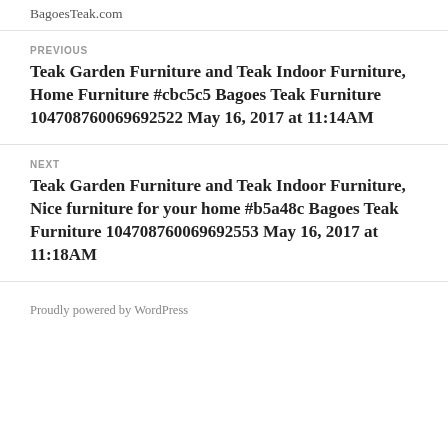BagoesTeak.com
PREVIOUS
Teak Garden Furniture and Teak Indoor Furniture, Home Furniture #cbc5c5 Bagoes Teak Furniture 104708760069692522 May 16, 2017 at 11:14AM
NEXT
Teak Garden Furniture and Teak Indoor Furniture, Nice furniture for your home #b5a48c Bagoes Teak Furniture 104708760069692553 May 16, 2017 at 11:18AM
Proudly powered by WordPress